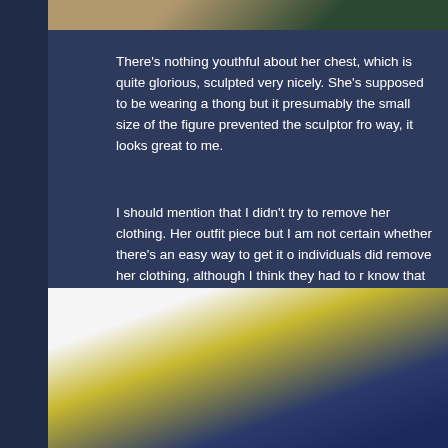[Figure (photo): Partial view of a sculpted figure at the top of the page, showing dark green and golden/tan colors]
There's nothing youthful about her chest, which is quite glorious, sculpted very nicely. She's supposed to be wearing a thong but it presumably the small size of the figure prevented the sculptor fro way, it looks great to me.
I should mention that I didn't try to remove her clothing. Her outfit piece but I am not certain whether there's an easy way to get it o individuals did remove her clothing, although I think they had to r know that she doesn't have nipples. Being that that's the case, I d try. She does seem to have a hint of genitalia though. (Man that s you want to see her in all her bare glory, here's a review that sho
[Figure (photo): Close-up photo of the lower portion of a sculpted anime figure showing navy blue fabric/clothing and golden yellow circular elements, against a white background]